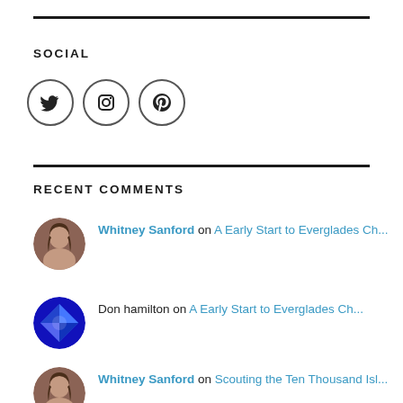SOCIAL
[Figure (illustration): Three social media icon circles: Twitter bird, Instagram camera, Pinterest P]
RECENT COMMENTS
Whitney Sanford on A Early Start to Everglades Ch...
Don hamilton on A Early Start to Everglades Ch...
Whitney Sanford on Scouting the Ten Thousand Isl...